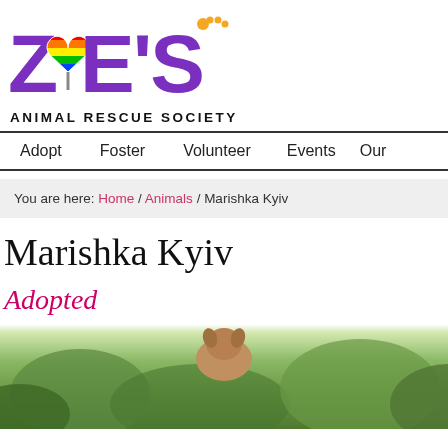[Figure (logo): Zoe's Animal Rescue Society logo with rainbow heart and colorful lettering]
ANIMAL RESCUE SOCIETY
Adopt   Foster   Volunteer   Events   Our
You are here: Home / Animals / Marishka Kyiv
Marishka Kyiv
Adopted
[Figure (photo): Dog photographed outdoors among green foliage, viewed from behind/above]